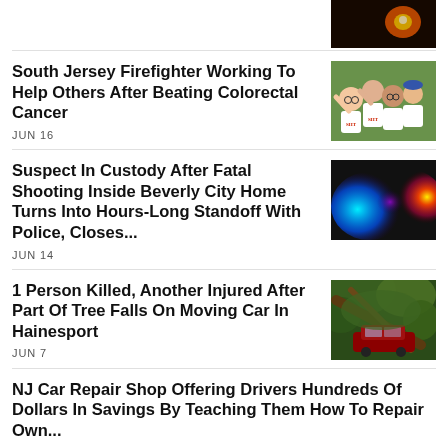[Figure (photo): Partial image of a light or fire at night, dark background with orange/red glow]
South Jersey Firefighter Working To Help Others After Beating Colorectal Cancer
JUN 16
[Figure (photo): Group photo of smiling people wearing white shirts, possibly a charity or awareness event]
Suspect In Custody After Fatal Shooting Inside Beverly City Home Turns Into Hours-Long Standoff With Police, Closes...
JUN 14
[Figure (photo): Police lights, blue and red/orange blurred bokeh lights against dark background]
1 Person Killed, Another Injured After Part Of Tree Falls On Moving Car In Hainesport
JUN 7
[Figure (photo): Aerial or overhead view of a car crushed under fallen tree branches]
NJ Car Repair Shop Offering Drivers Hundreds Of Dollars In Savings By Teaching Them How To Repair Own...